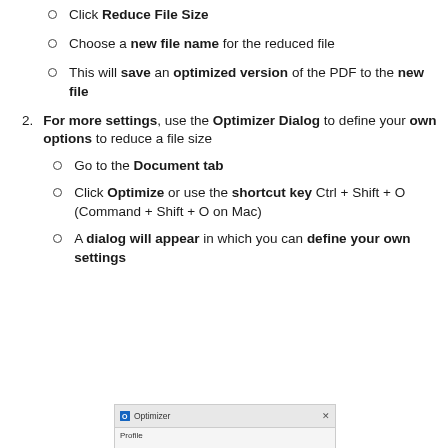Click Reduce File Size
Choose a new file name for the reduced file
This will save an optimized version of the PDF to the new file
For more settings, use the Optimizer Dialog to define your own options to reduce a file size
Go to the Document tab
Click Optimize or use the shortcut key Ctrl + Shift + O (Command + Shift + O on Mac)
A dialog will appear in which you can define your own settings
[Figure (screenshot): Optimizer dialog box screenshot showing title bar with Profile label below]